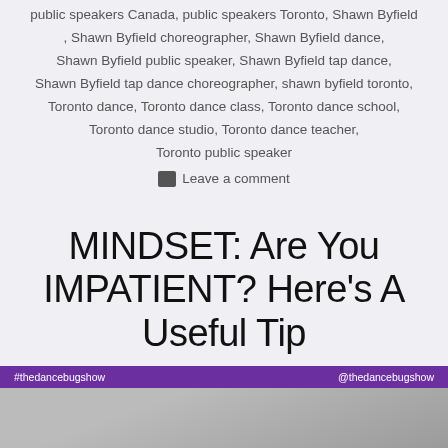public speakers Canada, public speakers Toronto, Shawn Byfield, Shawn Byfield choreographer, Shawn Byfield dance, Shawn Byfield public speaker, Shawn Byfield tap dance, Shawn Byfield tap dance choreographer, shawn byfield toronto, Toronto dance, Toronto dance class, Toronto dance school, Toronto dance studio, Toronto dance teacher, Toronto public speaker
Leave a comment
MINDSET: Are You IMPATIENT? Here’s A Useful Tip
[Figure (photo): A photo with a purple banner at top showing #thedancebugshow on the left and @thedancebugshow on the right, with a person visible below.]